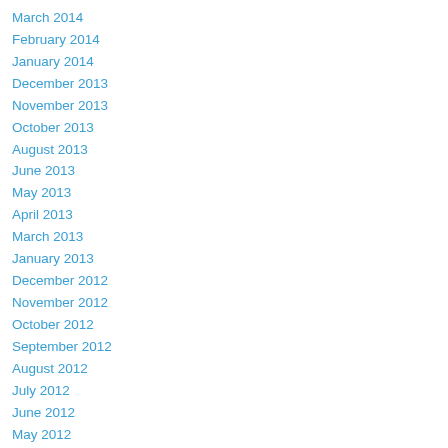March 2014
February 2014
January 2014
December 2013
November 2013
October 2013
August 2013
June 2013
May 2013
April 2013
March 2013
January 2013
December 2012
November 2012
October 2012
September 2012
August 2012
July 2012
June 2012
May 2012